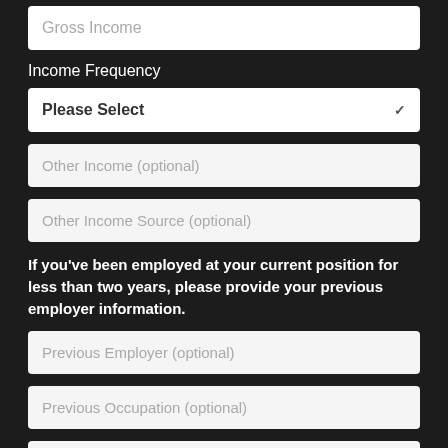Gross Income
Income Frequency
Please Select
Other Income (optional)
Other Income Source (optional)
If you've been employed at your current position for less than two years, please provide your previous employer information.
Previous Employer (optional)
Previous Occupation (optional)
Previous Employer Phone (optional) - (___) ___-